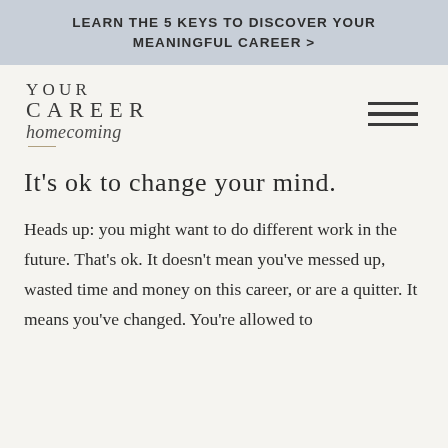LEARN THE 5 KEYS TO DISCOVER YOUR MEANINGFUL CAREER >
[Figure (logo): Your Career Homecoming logo with uppercase serif text and italic script]
It's ok to change your mind.
Heads up: you might want to do different work in the future. That's ok. It doesn't mean you've messed up, wasted time and money on this career, or are a quitter. It means you've changed. You're allowed to